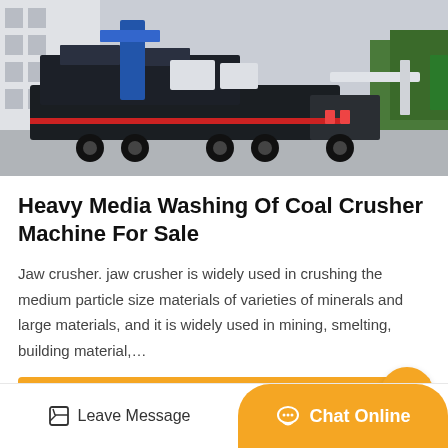[Figure (photo): Heavy machinery / coal crusher machines loaded on flatbed trucks parked on a street, with industrial buildings and trees in background]
Heavy Media Washing Of Coal Crusher Machine For Sale
Jaw crusher. jaw crusher is widely used in crushing the medium particle size materials of varieties of minerals and large materials, and it is widely used in mining, smelting, building material,…
Get Price
Leave Message
Chat Online